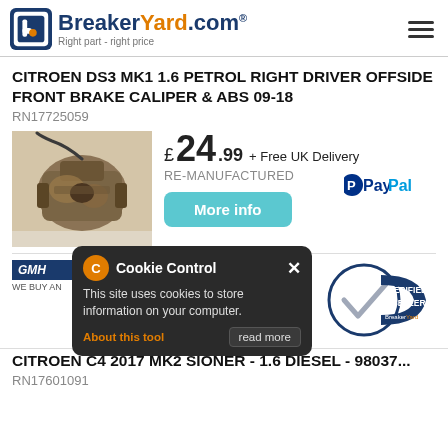[Figure (logo): BreakerYard.com logo with tagline 'Right part - right price']
CITROEN DS3 MK1 1.6 PETROL RIGHT DRIVER OFFSIDE FRONT BRAKE CALIPER & ABS 09-18
RN17725059
[Figure (photo): Photo of a rusty brake caliper]
£ 24.99 + Free UK Delivery
RE-MANUFACTURED
More info
[Figure (logo): PayPal logo]
[Figure (logo): GMH / We Buy Any Car logo]
[Figure (logo): Verified Seller BreakerYard.com badge]
Cookie Control
This site uses cookies to store information on your computer.
About this tool
read more
CITROEN C4 2017 MK2 SIONER - 1.6 DIESEL - 98037...
RN17601091